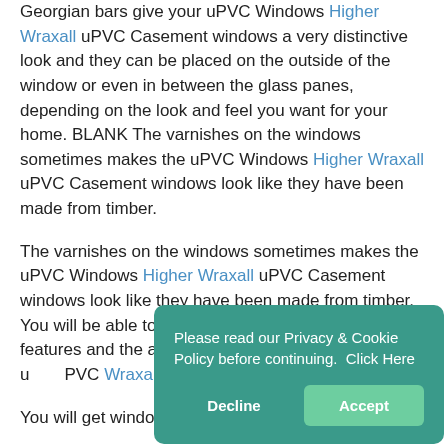Georgian bars give your uPVC Windows Higher Wraxall uPVC Casement windows a very distinctive look and they can be placed on the outside of the window or even in between the glass panes, depending on the look and feel you want for your home. BLANK The varnishes on the windows sometimes makes the uPVC Windows Higher Wraxall uPVC Casement windows look like they have been made from timber.
The varnishes on the windows sometimes makes the uPVC Windows Higher Wraxall uPVC Casement windows look like they have been made from timber. You will be able to take advantage of contemporary features and the appearance the uPVC Windows Higher Wraxall uPVC Casement windows
You will get windows from uPVC Windows
Please read our Privacy & Cookie Policy before continuing.  Click Here